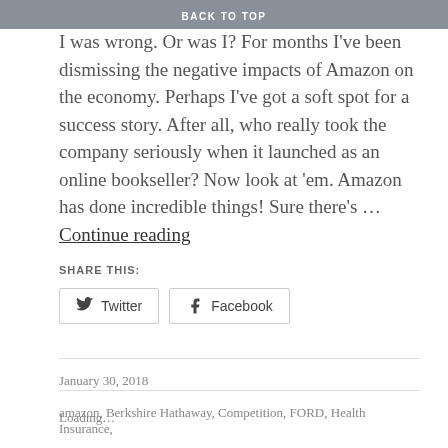BACK TO TOP
I was wrong. Or was I? For months I've been dismissing the negative impacts of Amazon on the economy. Perhaps I've got a soft spot for a success story. After all, who really took the company seriously when it launched as an online bookseller? Now look at 'em. Amazon has done incredible things! Sure there's … Continue reading
SHARE THIS:
Twitter   Facebook
Loading…
January 30, 2018
amazon, Berkshire Hathaway, Competition, FORD, Health Insurance,